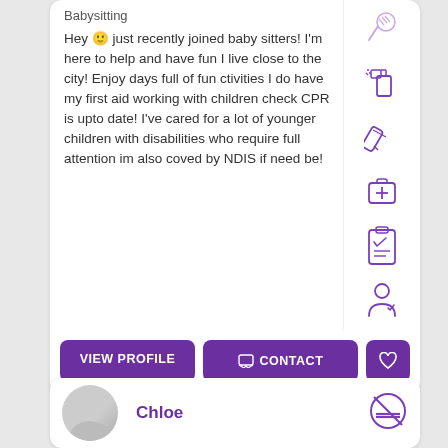Babysitting
Hey 🙂 just recently joined baby sitters! I'm here to help and have fun I live close to the city! Enjoy days full of fun ctivities I do have my first aid working with children check CPR is upto date! I've cared for a lot of younger children with disabilities who require full attention im also coved by NDIS if need be!
[Figure (illustration): Purple outline icons on right sidebar: spray bottle, pencil/pen, first aid kit, clipboard checklist, person/user icon, and faded sports icon at top]
VIEW PROFILE
CONTACT
Chloe
[Figure (illustration): No smoking icon in purple circle]